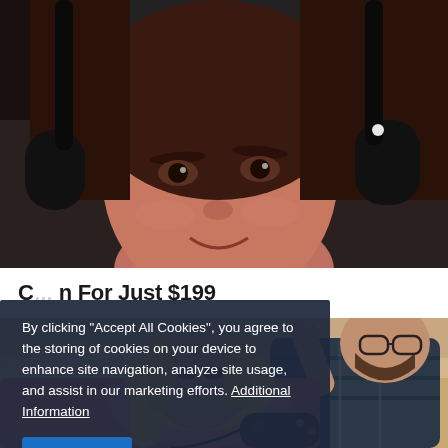[Figure (photo): Close-up photo of a young woman with brown hair wearing a black gaming headset, looking at camera with a slight smile]
C... n For Just $199
[Figure (photo): Photo of a couple on a couch playing video games: a bearded man with glasses sits behind a smiling blonde woman who holds a game controller]
By clicking "Accept All Cookies", you agree to the storing of cookies on your device to enhance site navigation, analyze site usage, and assist in our marketing efforts. Additional Information
Accept All
Cookies Settings